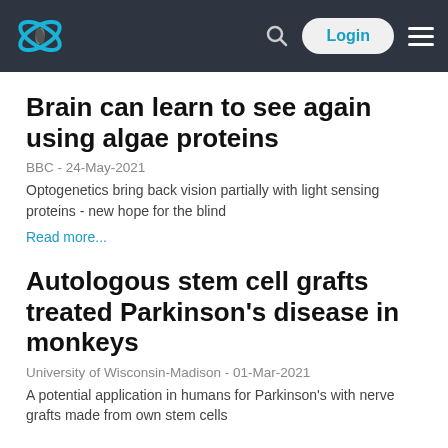Navigation bar with logo, search, Login, and menu
Brain can learn to see again using algae proteins
BBC - 24-May-2021
Optogenetics bring back vision partially with light sensing proteins - new hope for the blind
Read more...
Autologous stem cell grafts treated Parkinson's disease in monkeys
University of Wisconsin-Madison - 01-Mar-2021
A potential application in humans for Parkinson's with nerve grafts made from own stem cells